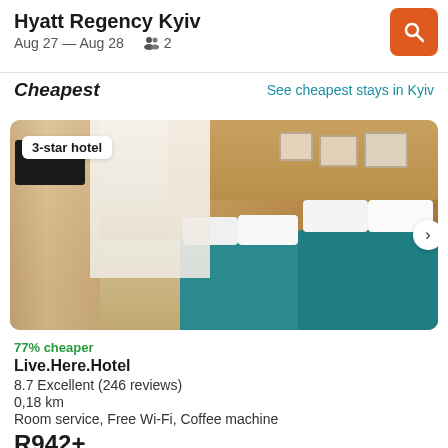Hyatt Regency Kyiv
Aug 27 — Aug 28   2
Cheapest
See cheapest stays in Kyiv
[Figure (photo): Hotel room photo showing two beds with teal/turquoise bedspreads and golden tufted headboard, with desk and chair on the left, framed pictures on the wall. Badge overlay reads '3-star hotel'.]
77% cheaper
Live.Here.Hotel
8.7 Excellent (246 reviews)
0,18 km
Room service, Free Wi-Fi, Coffee machine
R942+